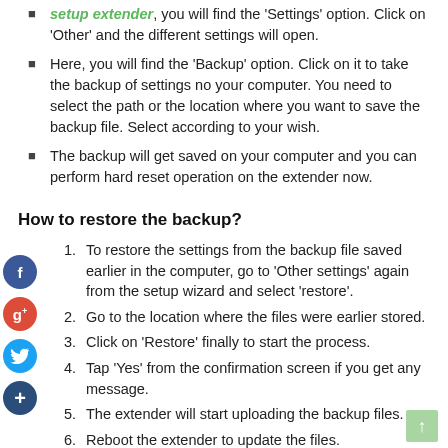setup extender, you will find the 'Settings' option. Click on 'Other' and the different settings will open.
Here, you will find the 'Backup' option. Click on it to take the backup of settings no your computer. You need to select the path or the location where you want to save the backup file. Select according to your wish.
The backup will get saved on your computer and you can perform hard reset operation on the extender now.
How to restore the backup?
1. To restore the settings from the backup file saved earlier in the computer, go to 'Other settings' again from the setup wizard and select 'restore'.
2. Go to the location where the files were earlier stored.
3. Click on 'Restore' finally to start the process.
4. Tap 'Yes' from the confirmation screen if you get any message.
5. The extender will start uploading the backup files.
6. Reboot the extender to update the files.